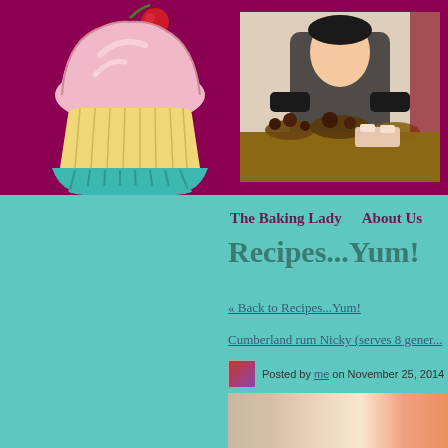[Figure (illustration): Cupcake illustration with pink frosting, cherry on top, and teal/green cup]
[Figure (photo): Woman in dark clothing eating chocolate at a food display table]
The Baking Lady    About Us
Recipes...Yum!
« Back to Recipes...Yum!
Cumberland rum Nicky (serves 8 generously)
Posted by me on November 25, 2014
[Figure (photo): Close-up photo of food/dessert preparation]